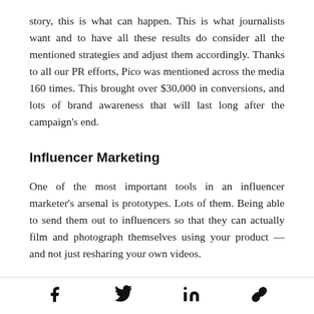story, this is what can happen. This is what journalists want and to have all these results do consider all the mentioned strategies and adjust them accordingly. Thanks to all our PR efforts, Pico was mentioned across the media 160 times. This brought over $30,000 in conversions, and lots of brand awareness that will last long after the campaign's end.
Influencer Marketing
One of the most important tools in an influencer marketer's arsenal is prototypes. Lots of them. Being able to send them out to influencers so that they can actually film and photograph themselves using your product — and not just resharing your own videos.
f  [twitter]  in  [link]